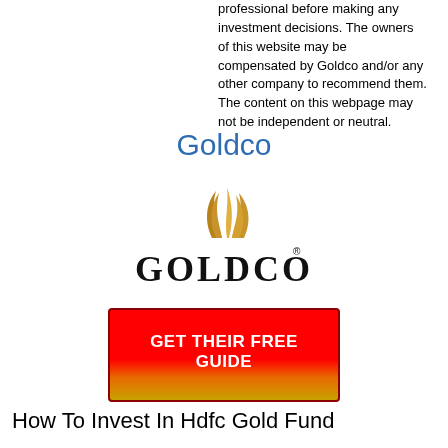professional before making any investment decisions. The owners of this website may be compensated by Goldco and/or any other company to recommend them. The content on this webpage may not be independent or neutral.
Goldco
[Figure (logo): Goldco logo with golden flame swoosh above the text GOLDCO in large serif letters with a registered trademark symbol]
[Figure (other): Red to orange-gold gradient call-to-action button with text GET THEIR FREE GUIDE in white bold letters]
How To Invest In Hdfc Gold Fund